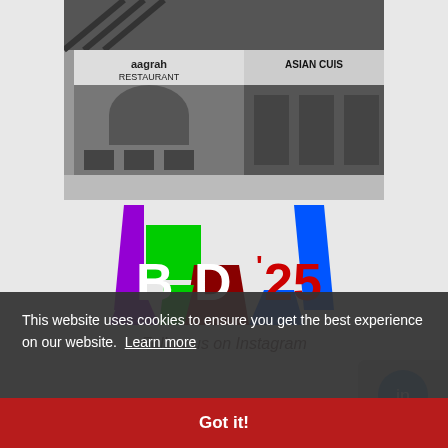[Figure (photo): Black and white photograph of Aagrah Restaurant storefront with 'Asian Cuisine' sign visible]
[Figure (logo): BD25 colorful logo with purple, green, blue, red shapes and bold letters]
This website uses cookies to ensure you get the best experience on our website.  Learn more
Follow us on Instagram
Got it!